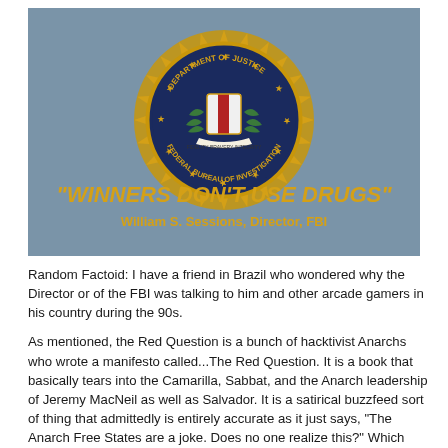[Figure (illustration): FBI 'Winners Don't Use Drugs' arcade splash screen graphic. Shows the FBI seal (Department of Justice, Federal Bureau of Investigation) on a steel-blue background, with text below reading '"WINNERS DON'T USE DRUGS"' in large gold letters and 'William S. Sessions, Director, FBI' in smaller gold text.]
Random Factoid: I have a friend in Brazil who wondered why the Director or of the FBI was talking to him and other arcade gamers in his country during the 90s.
As mentioned, the Red Question is a bunch of hacktivist Anarchs who wrote a manifesto called...The Red Question. It is a book that basically tears into the Camarilla, Sabbat, and the Anarch leadership of Jeremy MacNeil as well as Salvador. It is a satirical buzzfeed sort of thing that admittedly is entirely accurate as it just says, "The Anarch Free States are a joke. Does no one realize this?" Which they get props for if nothing else.
It's not explictly spelled out in his Chicago by Night 5th Edition write-